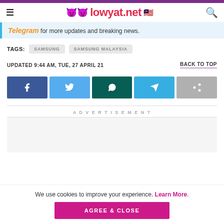lowyat.net
Telegram for more updates and breaking news.
TAGS: SAMSUNG  SAMSUNG MALAYSIA
UPDATED 9:44 AM, TUE, 27 APRIL 21
BACK TO TOP
[Figure (infographic): Social share buttons: Facebook, Twitter, WhatsApp, Telegram, Share]
ADVERTISEMENT
We use cookies to improve your experience. Learn More. AGREE & CLOSE